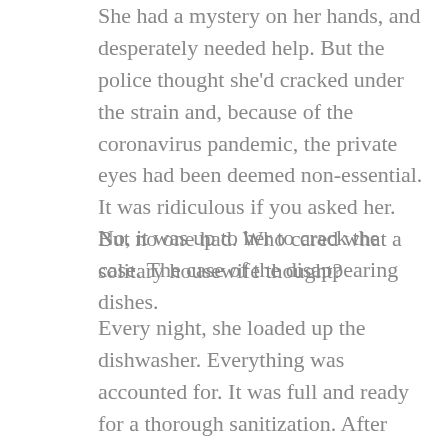She had a mystery on her hands, and desperately needed help. But the police thought she'd cracked under the strain and, because of the coronavirus pandemic, the private eyes had been deemed non-essential. It was ridiculous if you asked her. But no one had. Who cared what a solitary housewife thought?
No, it was up to her to crack the case. The case of the disappearing dishes.
Every night, she loaded up the dishwasher. Everything was accounted for. It was full and ready for a thorough sanitization. After being used by three kids and two adults, they desperately needed a hot bath. Actually, so did she. Unfortunately, the baby was waking again.